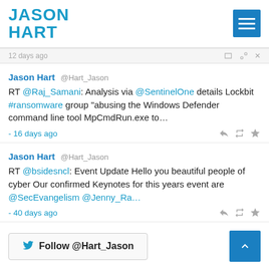JASON HART
12 days ago
Jason Hart @Hart_Jason
RT @Raj_Samani: Analysis via @SentinelOne details Lockbit #ransomware group "abusing the Windows Defender command line tool MpCmdRun.exe to...
- 16 days ago
Jason Hart @Hart_Jason
RT @bsidesncl: Event Update Hello you beautiful people of cyber Our confirmed Keynotes for this years event are @SecEvangelism @Jenny_Ra...
- 40 days ago
Follow @Hart_Jason